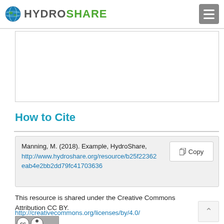HydroShare
[Figure (other): Empty white content box with border]
How to Cite
Manning, M. (2018). Example, HydroShare, http://www.hydroshare.org/resource/b25f22362eab4e2bb2dd79fc41703636
This resource is shared under the Creative Commons Attribution CC BY.
http://creativecommons.org/licenses/by/4.0/
[Figure (logo): Creative Commons BY license badge]